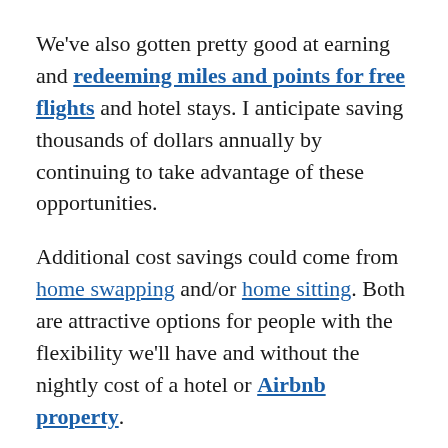We've also gotten pretty good at earning and redeeming miles and points for free flights and hotel stays. I anticipate saving thousands of dollars annually by continuing to take advantage of these opportunities.
Additional cost savings could come from home swapping and/or home sitting. Both are attractive options for people with the flexibility we'll have and without the nightly cost of a hotel or Airbnb property.
Depending on the choices we make, this $20,000 allotment could be a generous or inadequate